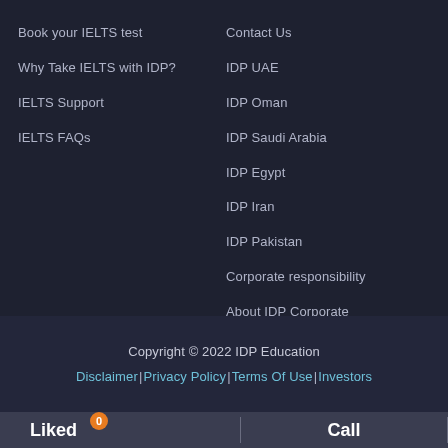Book your IELTS test
Why Take IELTS with IDP?
IELTS Support
IELTS FAQs
Contact Us
IDP UAE
IDP Oman
IDP Saudi Arabia
IDP Egypt
IDP Iran
IDP Pakistan
Corporate responsibility
About IDP Corporate
Copyright © 2022 IDP Education
Disclaimer | Privacy Policy | Terms Of Use | Investors
Liked 0
Call